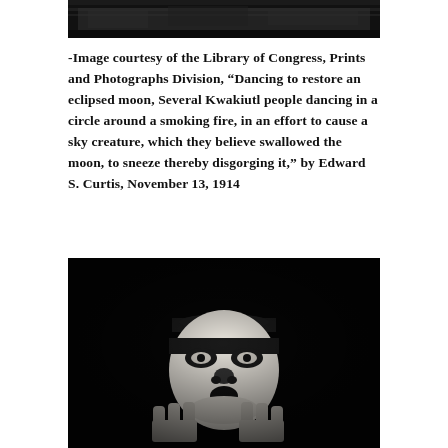[Figure (photo): Top portion of a black and white historical photograph, cropped at the top of the page.]
-Image courtesy of the Library of Congress, Prints and Photographs Division, “Dancing to restore an eclipsed moon, Several Kwakiutl people dancing in a circle around a smoking fire, in an effort to cause a sky creature, which they believe swallowed the moon, to sneeze thereby disgorging it,” by Edward S. Curtis, November 13, 1914
[Figure (photo): Black and white photograph showing a person wearing a white ceremonial mask with painted features, holding their hands up near their face with fingers spread, against a dark background.]